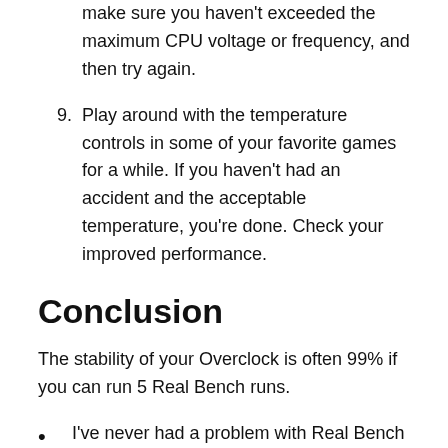make sure you haven't exceeded the maximum CPU voltage or frequency, and then try again.
9. Play around with the temperature controls in some of your favorite games for a while. If you haven't had an accident and the acceptable temperature, you're done. Check your improved performance.
Conclusion
The stability of your Overclock is often 99% if you can run 5 Real Bench runs.
I've never had a problem with Real Bench Stable OC. Prime95 is a more artificial test than Real Bench. Which allows you to run a larger number of tests on your processor. Unlike other tests that overheat the CPU, this one...